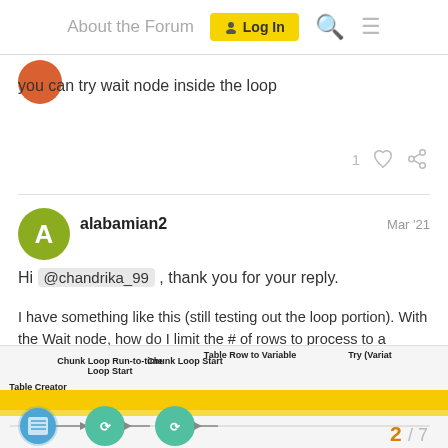About the Forum   Log In
you can try wait node inside the loop
alabamian2   Mar '21
Hi @chandrika_99 , thank you for your reply.
I have something like this (still testing out the loop portion). With the Wait node, how do I limit the # of rows to process to a specific count per day? Are you suggesting 24 hours divided by # of rows to process ==> use that #of mins as Wait time as variable? Thanks for your help.
[Figure (screenshot): KNIME workflow screenshot showing: Table Creator, Chunk Loop Run-to-time Loop Start, Chunk Loop Start, Table Row to Variable, Try (Variat nodes connected in sequence with arrows]